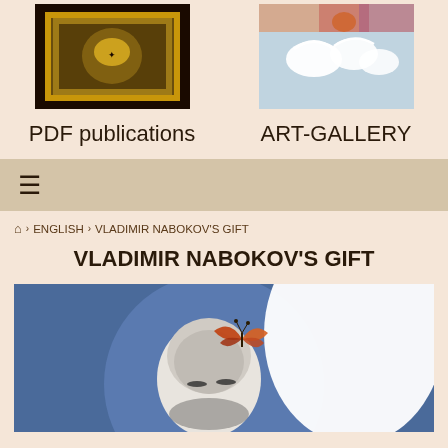[Figure (photo): Thumbnail image of an ornate decorative/illustrated book cover with dark background and golden/mosaic design]
[Figure (photo): Thumbnail image of white swans painting with colorful background]
PDF publications
ART-GALLERY
[Figure (other): Hamburger menu icon (three horizontal lines)]
🏠 › ENGLISH › VLADIMIR NABOKOV'S GIFT
VLADIMIR NABOKOV'S GIFT
[Figure (photo): Main article image: A black-and-white photo of a bald man's head with eyes closed, overlaid with a colorful butterfly on a blue circular background]